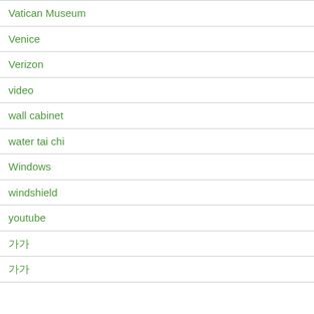Vatican Museum
Venice
Verizon
video
wall cabinet
water tai chi
Windows
windshield
youtube
고0
고0